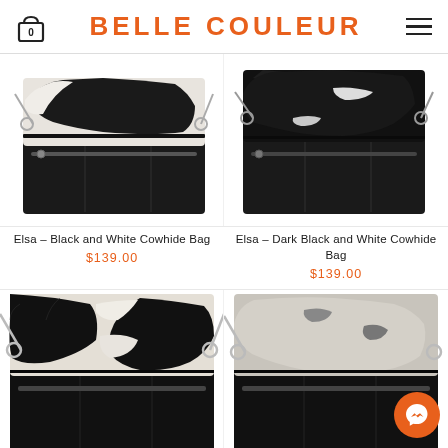BELLE COULEUR
[Figure (photo): Elsa - Black and White Cowhide Bag - foldover clutch with black and white cowhide top flap and black leather bottom with zipper]
Elsa – Black and White Cowhide Bag
$139.00
[Figure (photo): Elsa - Dark Black and White Cowhide Bag - foldover clutch with dark black and white cowhide top flap and black leather bottom with zipper]
Elsa – Dark Black and White Cowhide Bag
$139.00
[Figure (photo): Foldover bag with black and white cowhide top and black leather bottom, partially visible]
[Figure (photo): Foldover bag with light grey/white cowhide top and black leather bottom, partially visible, with Messenger chat button overlay]